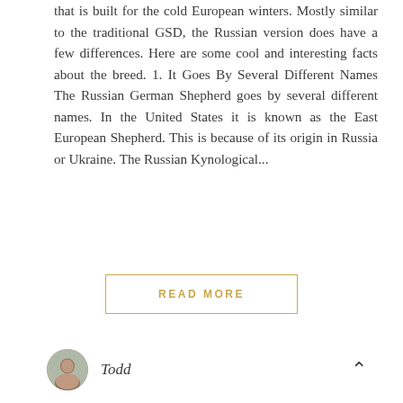that is built for the cold European winters. Mostly similar to the traditional GSD, the Russian version does have a few differences. Here are some cool and interesting facts about the breed. 1. It Goes By Several Different Names The Russian German Shepherd goes by several different names. In the United States it is known as the East European Shepherd. This is because of its origin in Russia or Ukraine. The Russian Kynological...
READ MORE
Todd